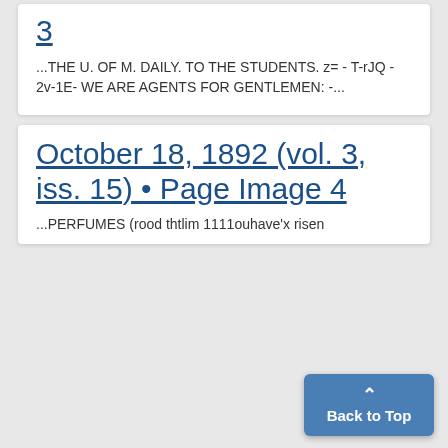3
...THE U. OF M. DAILY. TO THE STUDENTS. z= - T-rJQ - 2v-1E- WE ARE AGENTS FOR GENTLEMEN: -...
October 18, 1892 (vol. 3, iss. 15) • Page Image 4
...PERFUMES (rood thtlim 1111ouhave'x risen